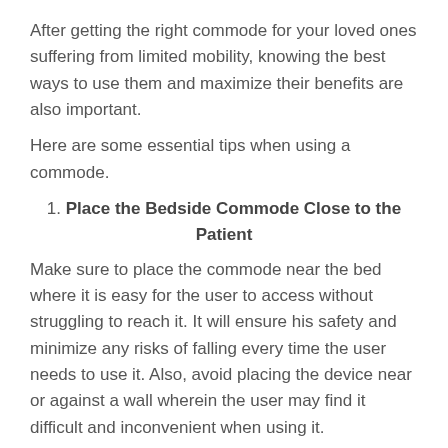After getting the right commode for your loved ones suffering from limited mobility, knowing the best ways to use them and maximize their benefits are also important.
Here are some essential tips when using a commode.
1. Place the Bedside Commode Close to the Patient
Make sure to place the commode near the bed where it is easy for the user to access without struggling to reach it. It will ensure his safety and minimize any risks of falling every time the user needs to use it. Also, avoid placing the device near or against a wall wherein the user may find it difficult and inconvenient when using it.
2. It Must Fit the User Properly
To ensure the user's safety, make sure that the commode